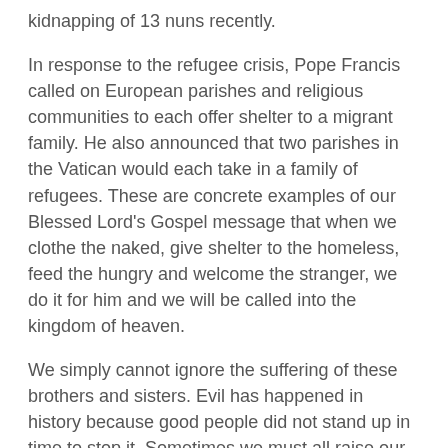kidnapping of 13 nuns recently.
In response to the refugee crisis, Pope Francis called on European parishes and religious communities to each offer shelter to a migrant family. He also announced that two parishes in the Vatican would each take in a family of refugees. These are concrete examples of our Blessed Lord's Gospel message that when we clothe the naked, give shelter to the homeless, feed the hungry and welcome the stranger, we do it for him and we will be called into the kingdom of heaven.
We simply cannot ignore the suffering of these brothers and sisters. Evil has happened in history because good people did not stand up in time to stop it. Sometimes we must all raise our voices in solidarity. Let us, wherever possible, contact our political leaders, those who form public opinion and the media and inform them of the need to raise public awareness of this tragedy and the persecution of Christians in this troubled part of the world.